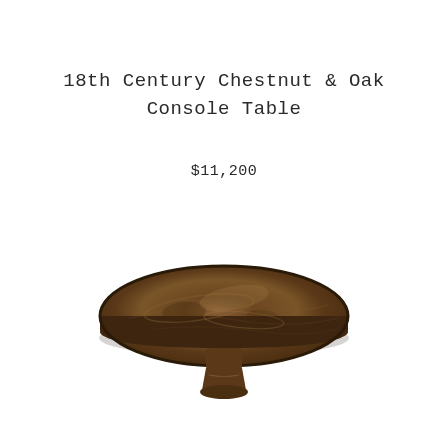18th Century Chestnut & Oak Console Table
$11,200
[Figure (photo): Antique round wooden table top with pedestal base, dark chestnut and oak grain, photographed from above-front angle on white background]